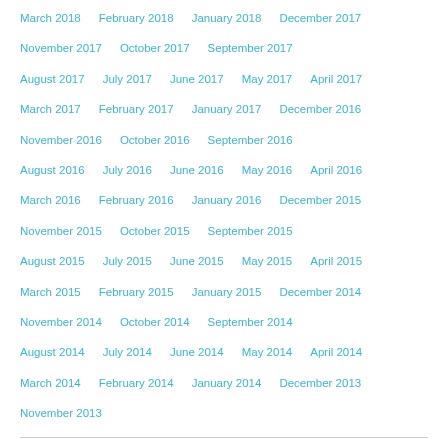March 2018   February 2018   January 2018   December 2017   November 2017   October 2017   September 2017   August 2017   July 2017   June 2017   May 2017   April 2017   March 2017   February 2017   January 2017   December 2016   November 2016   October 2016   September 2016   August 2016   July 2016   June 2016   May 2016   April 2016   March 2016   February 2016   January 2016   December 2015   November 2015   October 2015   September 2015   August 2015   July 2015   June 2015   May 2015   April 2015   March 2015   February 2015   January 2015   December 2014   November 2014   October 2014   September 2014   August 2014   July 2014   June 2014   May 2014   April 2014   March 2014   February 2014   January 2014   December 2013   November 2013
CATEGORIES
Abortion   abuse   abuse   accursed   addictions